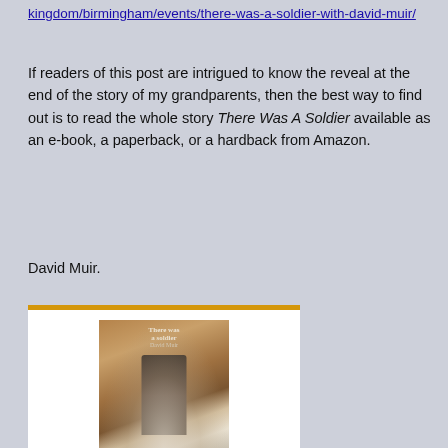kingdom/birmingham/events/there-was-a-soldier-with-david-muir/
If readers of this post are intrigued to know the reveal at the end of the story of my grandparents, then the best way to find out is to read the whole story There Was A Soldier available as an e-book, a paperback, or a hardback from Amazon.
David Muir.
[Figure (other): Amazon product widget showing book 'There was a soldier: Based...' with cover image, price £1.99, and a Shop now button. The widget has a gold/yellow top border and white background.]